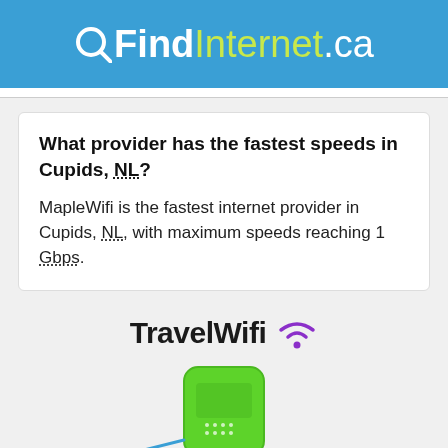QFindInternet.ca
What provider has the fastest speeds in Cupids, NL?
MapleWifi is the fastest internet provider in Cupids, NL, with maximum speeds reaching 1 Gbps.
[Figure (logo): TravelWifi logo with purple WiFi signal icon and a green portable WiFi device illustration]